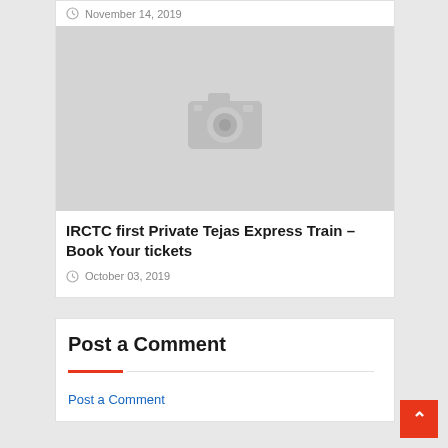November 14, 2019
[Figure (photo): Placeholder image with camera icon on gray background]
IRCTC first Private Tejas Express Train – Book Your tickets
October 03, 2019
Post a Comment
Post a Comment